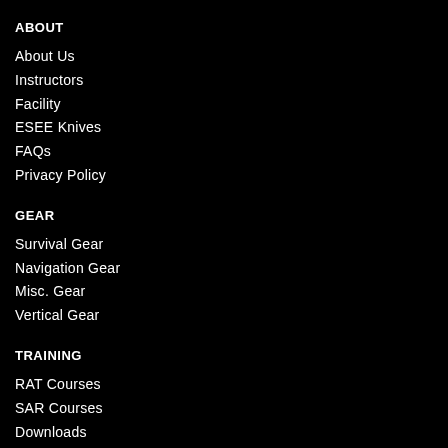ABOUT
About Us
Instructors
Facility
ESEE Knives
FAQs
Privacy Policy
GEAR
Survival Gear
Navigation Gear
Misc. Gear
Vertical Gear
TRAINING
RAT Courses
SAR Courses
Downloads